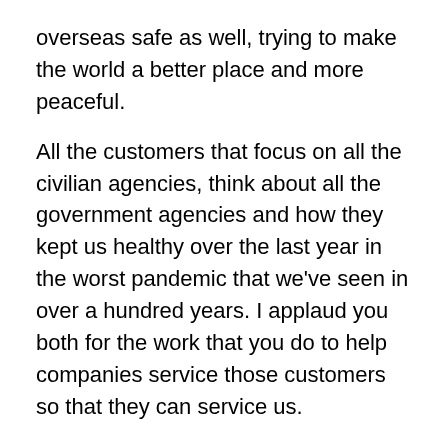overseas safe as well, trying to make the world a better place and more peaceful.
All the customers that focus on all the civilian agencies, think about all the government agencies and how they kept us healthy over the last year in the worst pandemic that we've seen in over a hundred years. I applaud you both for the work that you do to help companies service those customers so that they can service us.
Give us your final action step, something people can do today to take their sales career to the next level. Eileen, why don't you go first?
Erich Wiemann: The first thing I would do is go through your current client list and see if there's